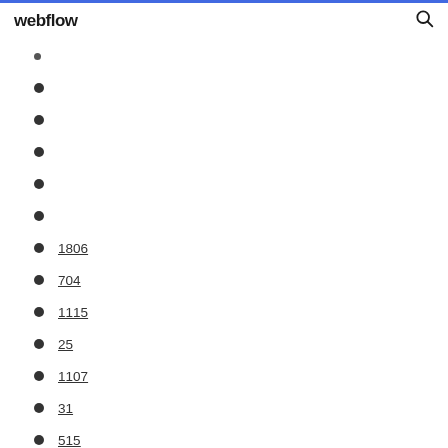webflow
1806
704
1115
25
1107
31
515